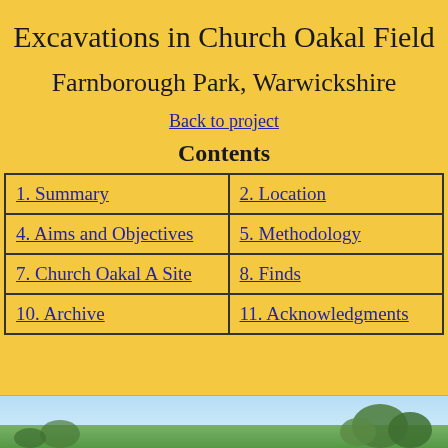Excavations in Church Oakal Field
Farnborough Park,  Warwickshire
Back to project
Contents
| 1. Summary | 2. Location |
| 4. Aims and Objectives | 5. Methodology |
| 7. Church Oakal A Site | 8. Finds |
| 10. Archive | 11. Acknowledgments |
[Figure (photo): Partial view of a landscape/field photo at the bottom of the page, showing sky and trees]